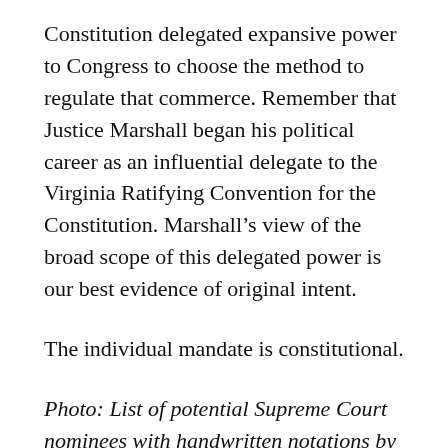Constitution delegated expansive power to Congress to choose the method to regulate that commerce. Remember that Justice Marshall began his political career as an influential delegate to the Virginia Ratifying Convention for the Constitution. Marshall's view of the broad scope of this delegated power is our best evidence of original intent.
The individual mandate is constitutional.
Photo: List of potential Supreme Court nominees with handwritten notations by President Gerald Ford.